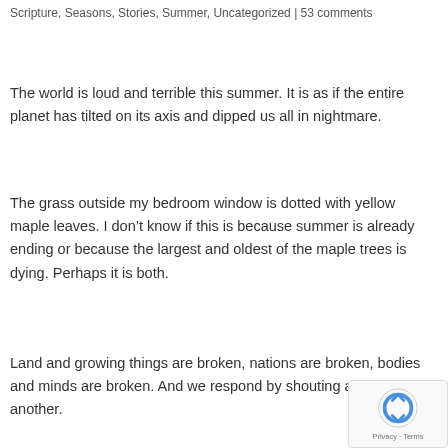Scripture, Seasons, Stories, Summer, Uncategorized | 53 comments
The world is loud and terrible this summer. It is as if the entire planet has tilted on its axis and dipped us all in nightmare.
The grass outside my bedroom window is dotted with yellow maple leaves. I don’t know if this is because summer is already ending or because the largest and oldest of the maple trees is dying. Perhaps it is both.
Land and growing things are broken, nations are broken, bodies and minds are broken. And we respond by shouting at one another.